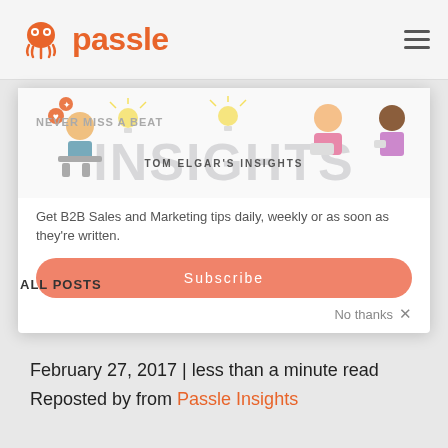passle
[Figure (illustration): Modal popup overlay on a website showing illustrated characters with light bulbs, large 'INSIGHTS' watermark text, 'NEVER MISS A BEAT' header, 'TOM ELGAR'S INSIGHTS' subtitle, description text about B2B Sales and Marketing tips, and a Subscribe button. Below the modal an 'ALL POSTS' label and 'No thanks x' close option.]
February 27, 2017 | less than a minute read
Reposted by from Passle Insights